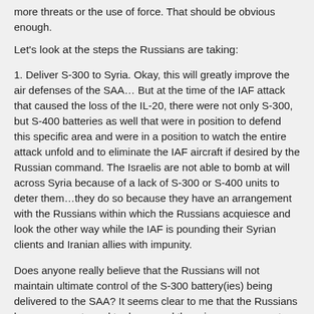more threats or the use of force. That should be obvious enough.
Let's look at the steps the Russians are taking:
1. Deliver S-300 to Syria. Okay, this will greatly improve the air defenses of the SAA… But at the time of the IAF attack that caused the loss of the IL-20, there were not only S-300, but S-400 batteries as well that were in position to defend this specific area and were in a position to watch the entire attack unfold and to eliminate the IAF aircraft if desired by the Russian command. The Israelis are not able to bomb at will across Syria because of a lack of S-300 or S-400 units to deter them…they do so because they have an arrangement with the Russians within which the Russians acquiesce and look the other way while the IAF is pounding their Syrian clients and Iranian allies with impunity.
Does anyone really believe that the Russians will not maintain ultimate control of the S-300 battery(ies) being delivered to the SAA? It seems clear to me that the Russians have an urgent need to do so, and there is every reason to believe that this will be the case. What is your basis for believing otherwise?
So what we have is the addition of missile batteries, which will still